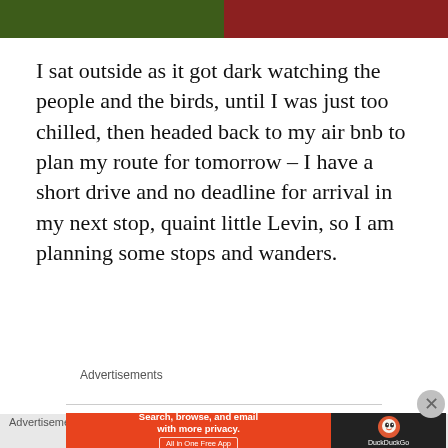[Figure (photo): Two cropped photos side by side: left shows a dark green outdoor scene, right shows a reddish-brown indoor scene]
I sat outside as it got dark watching the people and the birds, until I was just too chilled, then headed back to my air bnb to plan my route for tomorrow – I have a short drive and no deadline for arrival in my next stop, quaint little Levin, so I am planning some stops and wanders.
Advertisements
[Figure (screenshot): DuckDuckGo advertisement banner: orange section with text 'Search, browse, and email with more privacy. All in One Free App' and dark section with DuckDuckGo logo]